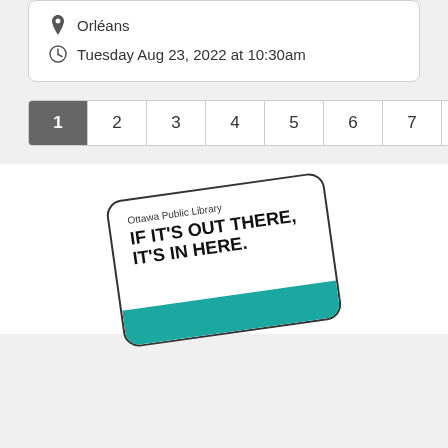📍 Orléans
🕐 Tuesday Aug 23, 2022 at 10:30am
[Figure (screenshot): Pagination bar with pages 1 (active/highlighted in grey), 2, 3, 4, 5, 6, 7, next ›, last »]
[Figure (logo): Ottawa Public Library card with slogan: IF IT'S OUT THERE, IT'S IN HERE. Slightly rotated, teal accent bar at bottom.]